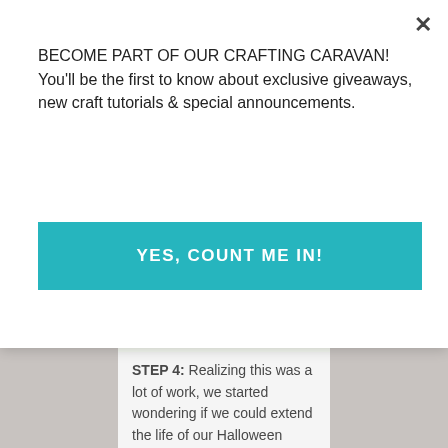BECOME PART OF OUR CRAFTING CARAVAN! You'll be the first to know about exclusive giveaways, new craft tutorials & special announcements.
YES, COUNT ME IN!
[Figure (photo): Overhead view of green yarn pom-poms arranged around a green foam wreath ring on a white surface, with a hand placing pom-poms and craft supplies visible]
STEP 4:  Realizing this was a lot of work, we started wondering if we could extend the life of our Halloween Wreath by converting it into a Christmas Wreath. So we decided to attach our Halloween Monster